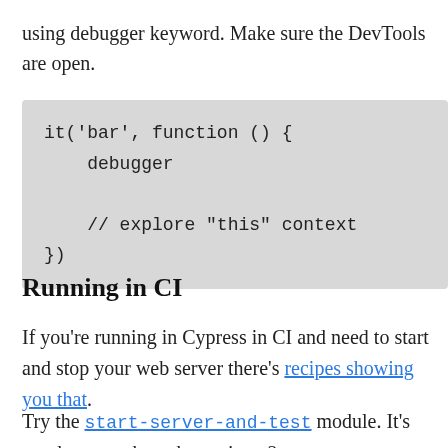using debugger keyword. Make sure the DevTools are open.
it('bar', function () {
    debugger

    // explore "this" context
})
Running in CI
If you're running in Cypress in CI and need to start and stop your web server there's recipes showing you that.
Try the start-server-and-test module. It's good to note that when using e2e-